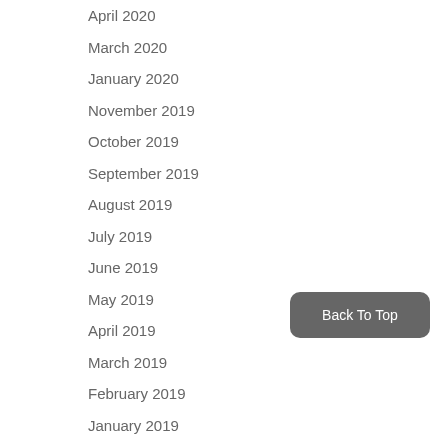April 2020
March 2020
January 2020
November 2019
October 2019
September 2019
August 2019
July 2019
June 2019
May 2019
April 2019
March 2019
February 2019
January 2019
Back To Top